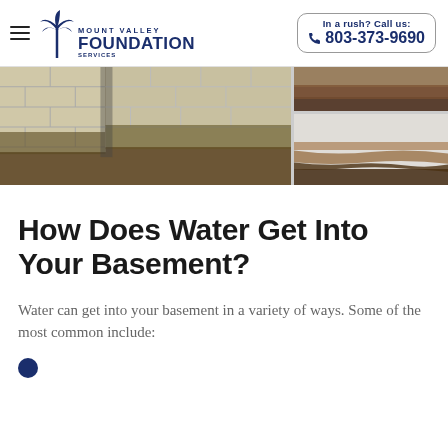In a rush? Call us: 803-373-9690 | Mount Valley Foundation
[Figure (photo): Two photos of a wet, moldy basement with stained cinder block walls and damp floors showing water damage]
How Does Water Get Into Your Basement?
Water can get into your basement in a variety of ways. Some of the most common include: